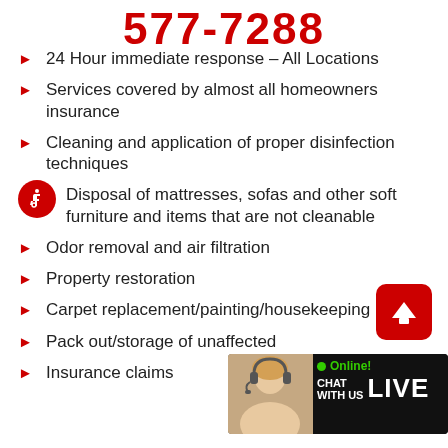577-7288
24 Hour immediate response – All Locations
Services covered by almost all homeowners insurance
Cleaning and application of proper disinfection techniques
Disposal of mattresses, sofas and other soft furniture and items that are not cleanable
Odor removal and air filtration
Property restoration
Carpet replacement/painting/housekeeping
Pack out/storage of unaffected
Insurance claims
[Figure (illustration): Scroll-up button: red rounded square with white upward arrow]
[Figure (illustration): Chat live online banner with agent photo, green Online dot, CHAT WITH US LIVE text]